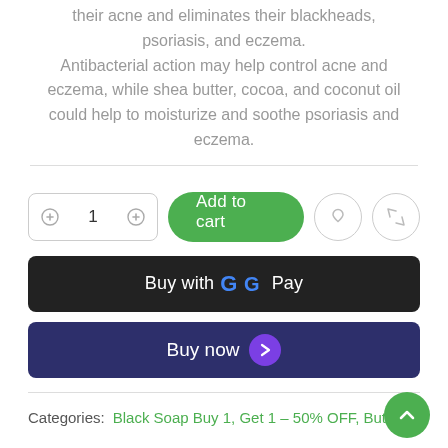their acne and eliminates their blackheads, psoriasis, and eczema. Antibacterial action may help control acne and eczema, while shea butter, cocoa, and coconut oil could help to moisturize and soothe psoriasis and eczema.
[Figure (screenshot): Add to cart row with quantity selector showing 1, green Add to cart button, heart icon button, and expand icon button]
[Figure (screenshot): Buy with Google Pay button (black rounded rectangle)]
[Figure (screenshot): Buy now button (dark navy rounded rectangle with purple arrow circle icon)]
Categories: Black Soap Buy 1, Get 1 – 50% OFF, Butters